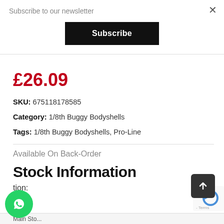Subscribe to our newsletter
Subscribe
£26.09
SKU:  675118178585
Category:  1/8th Buggy Bodyshells
Tags:  1/8th Buggy Bodyshells,  Pro-Line
Available On Back-Order
Stock Information
tion:
Main Sto...